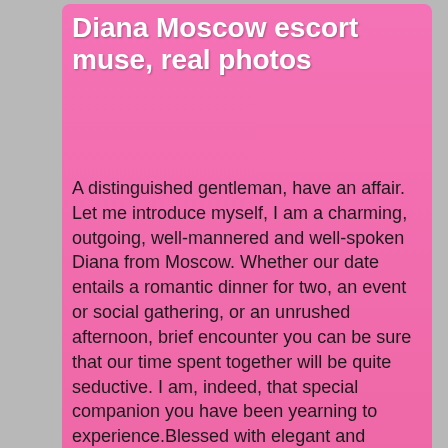Diana Moscow escort muse, real photos
A distinguished gentleman, have an affair. Let me introduce myself,  I am a charming, outgoing, well-mannered and well-spoken Diana from Moscow. Whether our date entails a romantic dinner for two, an event or social gathering, or an unrushed afternoon, brief encounter you can be sure that our time spent together will be quite seductive. I am, indeed, that special companion you have been yearning to experience.Blessed with elegant and striking features, I am *% all natural with perfect breasts.
Age : 25
[Figure (photo): Photo collage showing a woman with blonde hair in what appears to be an indoor setting, with a smartphone visible on the left side]